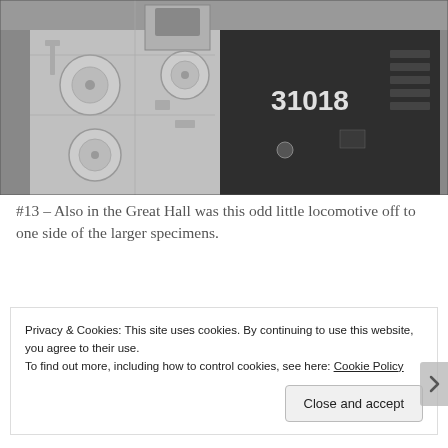[Figure (photo): Black and white photograph of railway locomotives in a museum hall. On the left side is a light-colored locomotive with circular disc-shaped fittings on its side panel. On the right side is a darker locomotive with the number 31018 prominently displayed on its body.]
#13 – Also in the Great Hall was this odd little locomotive off to one side of the larger specimens.
Privacy & Cookies: This site uses cookies. By continuing to use this website, you agree to their use.
To find out more, including how to control cookies, see here: Cookie Policy